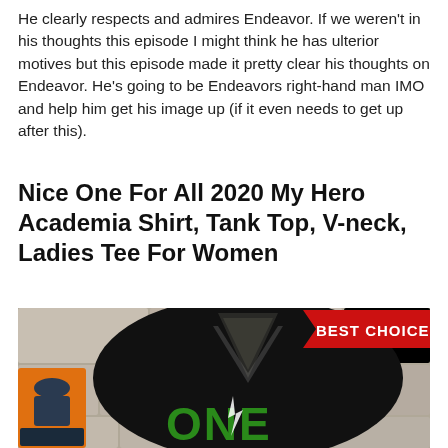He clearly respects and admires Endeavor. If we weren't in his thoughts this episode I might think he has ulterior motives but this episode made it pretty clear his thoughts on Endeavor. He's going to be Endeavors right-hand man IMO and help him get his image up (if it even needs to get up after this).
Nice One For All 2020 My Hero Academia Shirt, Tank Top, V-neck, Ladies Tee For Women
[Figure (photo): A black v-neck t-shirt with 'ONE' text in green on the front, displayed on a stone background. A 'BEST CHOICE' red badge is in the upper right corner. A small orange thumbnail of a hoodie is visible in the lower left.]